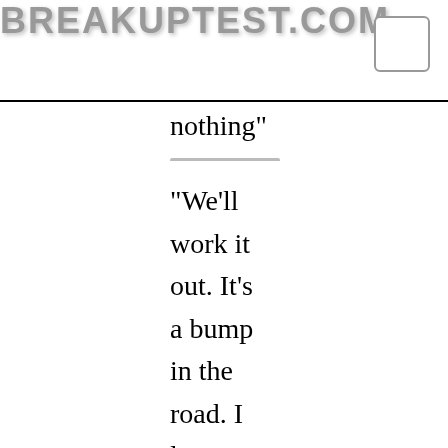BREAKUPTEST.COM
nothing"
"We'll work it out. It's a bump in the road. I love you with all of my heart and I will do